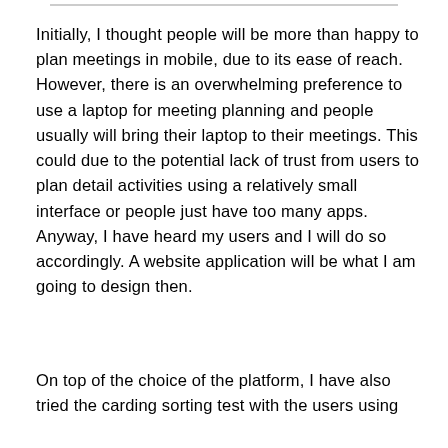Initially, I thought people will be more than happy to plan meetings in mobile, due to its ease of reach. However, there is an overwhelming preference to use a laptop for meeting planning and people usually will bring their laptop to their meetings. This could due to the potential lack of trust from users to plan detail activities using a relatively small interface or people just have too many apps. Anyway, I have heard my users and I will do so accordingly. A website application will be what I am going to design then.
On top of the choice of the platform, I have also tried the carding sorting test with the users using